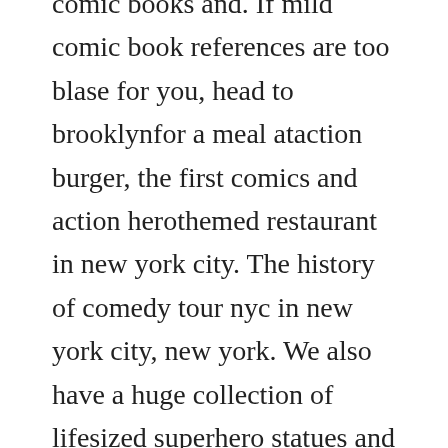comic books and. If mild comic book references are too blase for you, head to brooklynfor a meal ataction burger, the first comics and action herothemed restaurant in new york city. The history of comedy tour nyc in new york city, new york. We also have a huge collection of lifesized superhero statues and collectibles. Restaurants near the new york edition, new york city. Restaurants in new york city where to eat in nyc, nycgo. It has been owned wholly by its employees since the early 1960s. Apply to writer, account